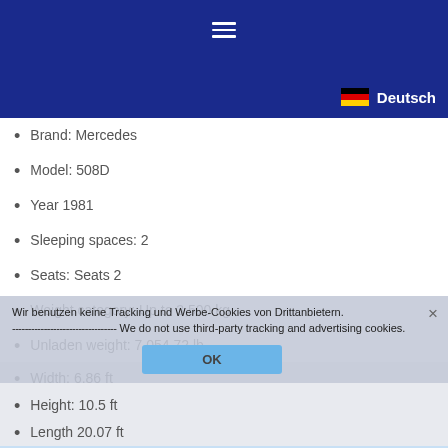[Figure (screenshot): Dark blue navigation header with hamburger menu icon (three horizontal lines) centered at top]
Deutsch (with German flag icon)
Brand: Mercedes
Model: 508D
Year 1981
Sleeping spaces: 2
Seats: Seats 2
Weight category: Up to 3,500 kg
Unladen weight: 7,054.72 lb
Mass in running order: 7,120.86 lb
Width: 6.86 ft
Height: 10.5 ft
Length 20.07 ft
Engine power (hp): 90
Fuel Consumption: 21.38 mpg
Fuel type: Diesel
Wir benutzen keine Tracking und Werbe-Cookies von Drittanbietern. ----------- We do not use third-party tracking and advertising cookies.
OK